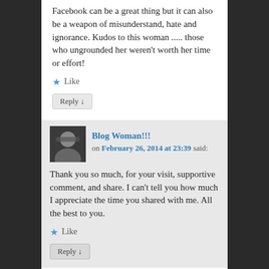Facebook can be a great thing but it can also be a weapon of misunderstand, hate and ignorance. Kudos to this woman ..... those who ungrounded her weren't worth her time or effort!
★ Like
Reply ↓
Blog Woman!!!
on February 26, 2014 at 23:39 said:
Thank you so much, for your visit, supportive comment, and share. I can't tell you how much I appreciate the time you shared with me. All the best to you.
★ Like
Reply ↓